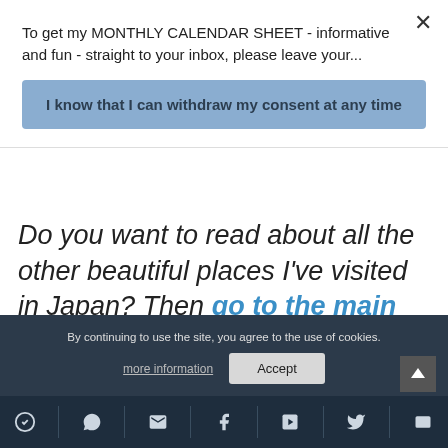To get my MONTHLY CALENDAR SHEET - informative and fun - straight to your inbox, please leave your...
I know that I can withdraw my consent at any time
Do you want to read about all the other beautiful places I've visited in Japan? Then go to the main post and take your...
By continuing to use the site, you agree to the use of cookies.
more information
Accept